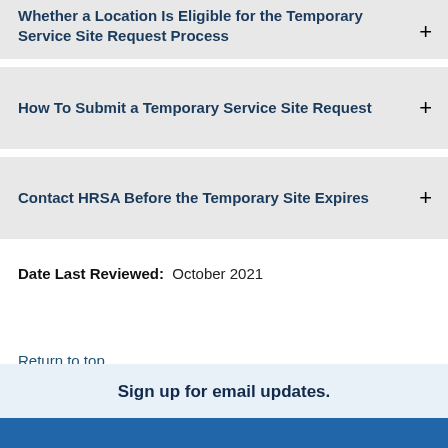Whether a Location Is Eligible for the Temporary Service Site Request Process
How To Submit a Temporary Service Site Request
Contact HRSA Before the Temporary Site Expires
Date Last Reviewed: October 2021
Return to top
Sign up for email updates.